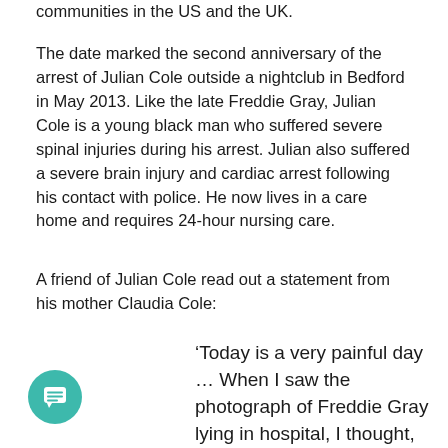communities in the US and the UK.
The date marked the second anniversary of the arrest of Julian Cole outside a nightclub in Bedford in May 2013. Like the late Freddie Gray, Julian Cole is a young black man who suffered severe spinal injuries during his arrest. Julian also suffered a severe brain injury and cardiac arrest following his contact with police. He now lives in a care home and requires 24-hour nursing care.
A friend of Julian Cole read out a statement from his mother Claudia Cole:
‘Today is a very painful day ... When I saw the photograph of Freddie Gray lying in hospital, I thought, “that is my
[Figure (other): Teal circular chat/message button icon in the bottom left corner]